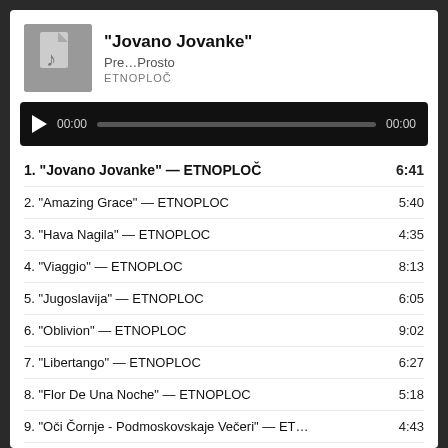“Jovano Jovanke”
Pre…Prosto
ETNOPLOČ
[Figure (screenshot): Audio player bar showing play button, 00:00 start time, progress track, and 00:00 end time on dark background]
1. “Jovano Jovanke” — ETNOPLOČ  6:41
2. “Amazing Grace” — ETNOPLOC  5:40
3. “Hava Nagila” — ETNOPLOC  4:35
4. “Viaggio” — ETNOPLOC  8:13
5. “Jugoslavija” — ETNOPLOC  6:05
6. “Oblivion” — ETNOPLOC  9:02
7. “Libertango” — ETNOPLOC  6:27
8. “Flor De Una Noche” — ETNOPLOC  5:18
9. “Oči Čornje - Podmoskovskaje Večeri” — ET…  4:43